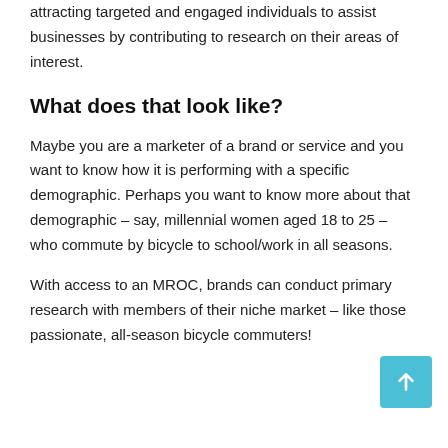attracting targeted and engaged individuals to assist businesses by contributing to research on their areas of interest.
What does that look like?
Maybe you are a marketer of a brand or service and you want to know how it is performing with a specific demographic. Perhaps you want to know more about that demographic – say, millennial women aged 18 to 25 – who commute by bicycle to school/work in all seasons.
With access to an MROC, brands can conduct primary research with members of their niche market – like those passionate, all-season bicycle commuters!